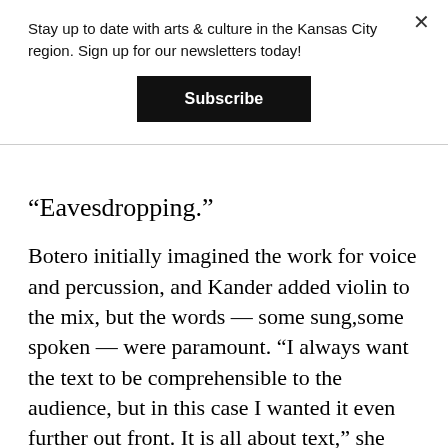Stay up to date with arts & culture in the Kansas City region. Sign up for our newsletters today!
Subscribe
“Eavesdropping.”
Botero initially imagined the work for voice and percussion, and Kander added violin to the mix, but the words — some sung,some spoken — were paramount. “I always want the text to be comprehensible to the audience, but in this case I wanted it even further out front. It is all about text,” she said, “to make sure that the words and the sense of it and the poetry of it are the first, second and third